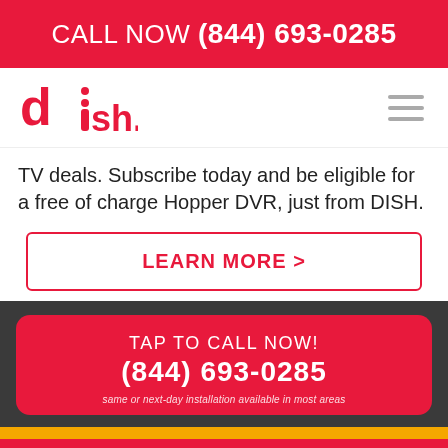CALL NOW (844) 693-0285
[Figure (logo): DISH Network logo in red]
TV deals. Subscribe today and be eligible for a free of charge Hopper DVR, just from DISH.
LEARN MORE >
TAP TO CALL NOW! (844) 693-0285 same or next-day installation available in most areas
Order Online  ✓ Call Now